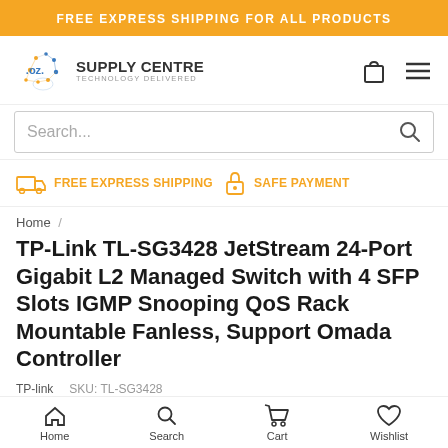FREE EXPRESS SHIPPING FOR ALL PRODUCTS
[Figure (logo): OZ Supply Centre - Technology Delivered logo with orange/blue dot network graphic]
Search...
FREE EXPRESS SHIPPING   SAFE PAYMENT
Home /
TP-Link TL-SG3428 JetStream 24-Port Gigabit L2 Managed Switch with 4 SFP Slots IGMP Snooping QoS Rack Mountable Fanless, Support Omada Controller
TP-link   SKU: TL-SG3428
Home   Search   Cart   Wishlist